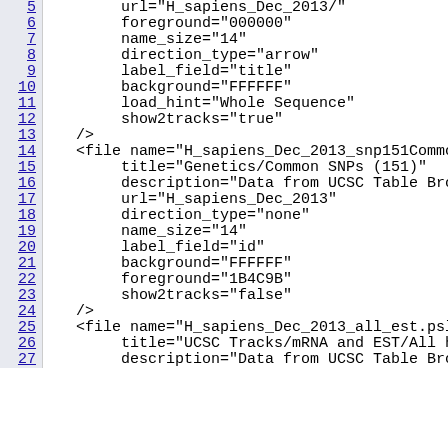Code listing lines 5-27 showing XML file configuration entries for H_sapiens genome browser tracks
5: url="H_sapiens_Dec_2013/"
6: foreground="000000"
7: name_size="14"
8: direction_type="arrow"
9: label_field="title"
10: background="FFFFFF"
11: load_hint="Whole Sequence"
12: show2tracks="true"
13: />
14: <file name="H_sapiens_Dec_2013_snp151Common.bed.gz
15: title="Genetics/Common SNPs (151)"
16: description="Data from UCSC Table Browser -
17: url="H_sapiens_Dec_2013"
18: direction_type="none"
19: name_size="14"
20: label_field="id"
21: background="FFFFFF"
22: foreground="1B4C9B"
23: show2tracks="false"
24: />
25: <file name="H_sapiens_Dec_2013_all_est.psl.gz"
26: title="UCSC Tracks/mRNA and EST/All human ES
27: description="Data from UCSC Table Browser -